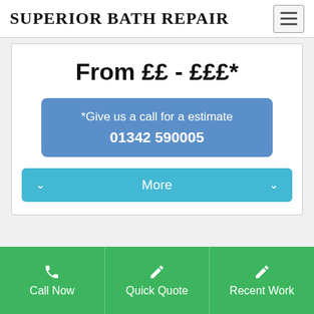SUPERIOR BATH REPAIR
From ££ - £££*
*Give us a call for a estimate
01342 590005
More
Call Now
Quick Quote
Recent Work